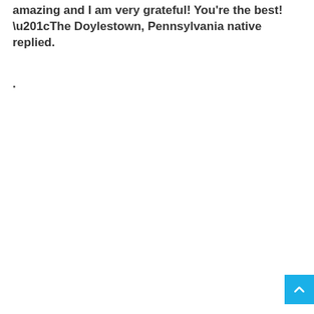amazing and I am very grateful! You're the best! “The Doylestown, Pennsylvania native replied.
.